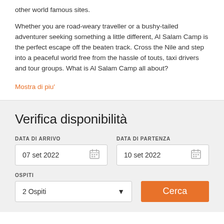other world famous sites.
Whether you are road-weary traveller or a bushy-tailed adventurer seeking something a little different, Al Salam Camp is the perfect escape off the beaten track. Cross the Nile and step into a peaceful world free from the hassle of touts, taxi drivers and tour groups. What is Al Salam Camp all about?
Mostra di piu'
Verifica disponibilità
DATA DI ARRIVO
07 set 2022
DATA DI PARTENZA
10 set 2022
OSPITI
2 Ospiti
Cerca